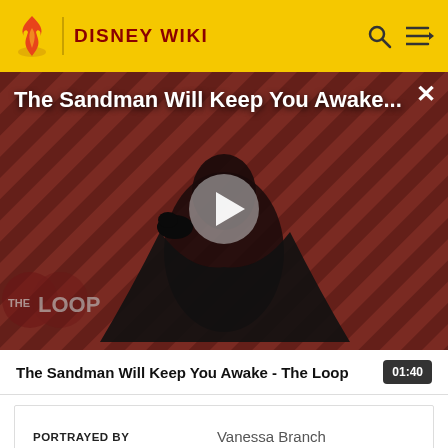DISNEY WIKI
[Figure (screenshot): Video thumbnail showing a dark-cloaked figure against a red and black diagonal striped background with 'THE LOOP' watermark and a play button overlay. Title text reads 'The Sandman Will Keep You Awake...' in white at top.]
The Sandman Will Keep You Awake - The Loop
| PORTRAYED BY |  |
| --- | --- |
| PORTRAYED BY | Vanessa Branch |